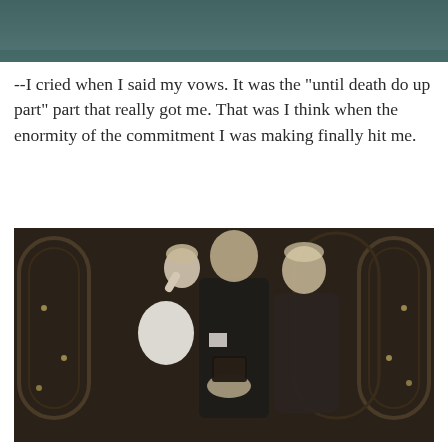[Figure (photo): Top portion of a black and white or dark toned photograph, cropped at top of page showing dark teal/grey background]
--I cried when I said my vows. It was the "until death do up part" part that really got me. That was I think when the enormity of the commitment I was making finally hit me.
[Figure (photo): Black and white wedding ceremony photograph showing a bride in a white dress wiping tears, a bald officiant in a dark suit standing behind, and a groom in a dark suit holding her hands, with ornate gothic church ironwork in the background]